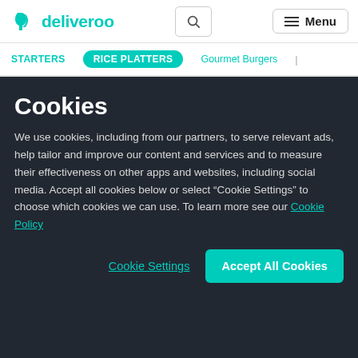[Figure (logo): Deliveroo logo with teal kangaroo icon and wordmark]
deliveroo | Search | Menu
STARTERS | RICE PLATTERS | Gourmet Burgers |
Cookies
We use cookies, including from our partners, to serve relevant ads, help tailor and improve our content and services and to measure their effectiveness on other apps and websites, including social media. Accept all cookies below or select “Cookie Settings” to choose which cookies we can use. To learn more see our Cookie Policy
Cookie Settings  Accept All Cookies